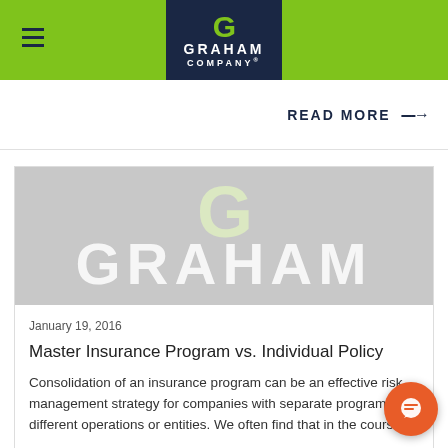[Figure (logo): Graham Company logo with green G on dark navy background, white GRAHAM COMPANY text]
READ MORE ----→
[Figure (illustration): Gray placeholder image with light green G logo and white GRAHAM text watermark]
January 19, 2016
Master Insurance Program vs. Individual Policy
Consolidation of an insurance program can be an effective risk management strategy for companies with separate programs for different operations or entities. We often find that in the course